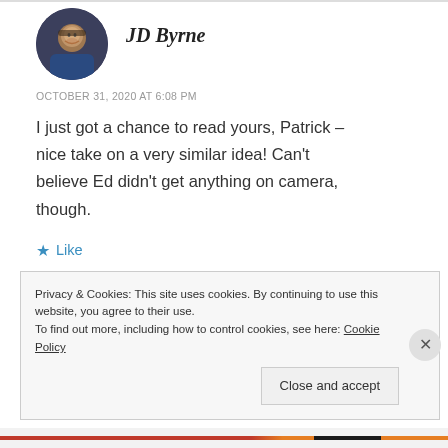[Figure (photo): Circular avatar photo of JD Byrne, a man with glasses]
JD Byrne
OCTOBER 31, 2020 AT 6:08 PM
I just got a chance to read yours, Patrick – nice take on a very similar idea! Can't believe Ed didn't get anything on camera, though.
★ Like
Privacy & Cookies: This site uses cookies. By continuing to use this website, you agree to their use.
To find out more, including how to control cookies, see here: Cookie Policy
Close and accept